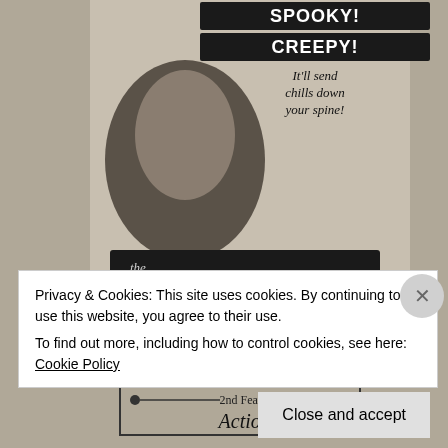[Figure (photo): Black and white vintage movie advertisement for 'The 7th Victim' featuring Tom Conway and Jean Brooks. Text on poster reads: SPOOKY!, CREEPY!, It'll send chills down your spine!, the 7th Victim, Tom Conway, Jean Brooks, 2nd Feature, Action!]
Privacy & Cookies: This site uses cookies. By continuing to use this website, you agree to their use.
To find out more, including how to control cookies, see here: Cookie Policy